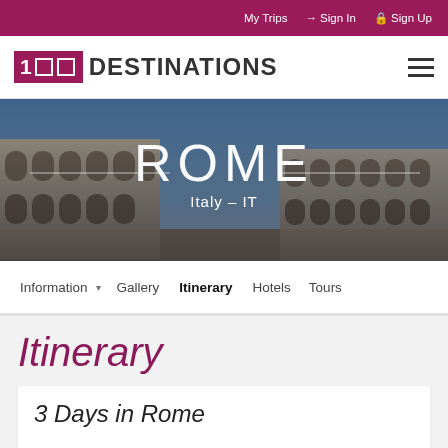My Trips  Sign In  Sign Up
[Figure (logo): 100 DESTINATIONS logo with hamburger menu]
[Figure (photo): Hero banner showing the Colosseum in Rome with overlay text ROME Italy - IT]
ROME
Italy – IT
Information  Gallery  Itinerary  Hotels  Tours
Itinerary
3 Days in Rome